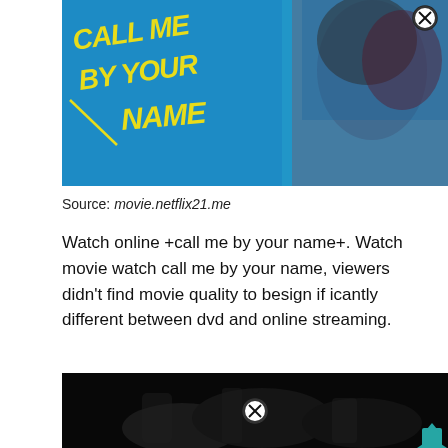[Figure (photo): Movie poster for 'Call Me By Your Name' with blue background, yellow stylized title text, and two people visible on the right side. A close/X button appears in the upper right of the poster.]
Source: movie.netflix21.me
Watch online +call me by your name+. Watch movie watch call me by your name, viewers didn't find movie quality to besign if icantly different between dvd and online streaming.
[Figure (photo): Dark image, appears to be a scene from a movie with figures in low light/black and white. A close/X button appears in the center and a teal scroll-up arrow in the bottom right.]